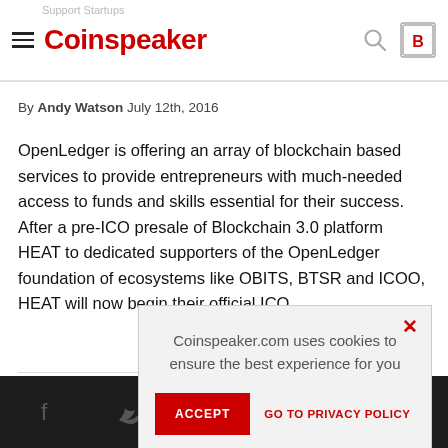Coinspeaker
By Andy Watson July 12th, 2016
OpenLedger is offering an array of blockchain based services to provide entrepreneurs with much-needed access to funds and skills essential for their success. After a pre-ICO presale of Blockchain 3.0 platform HEAT to dedicated supporters of the OpenLedger foundation of ecosystems like OBITS, BTSR and ICOO, HEAT will now begin their official ICO.
Coinspeaker.com uses cookies to ensure the best experience for you
ACCEPT
GO TO PRIVACY POLICY